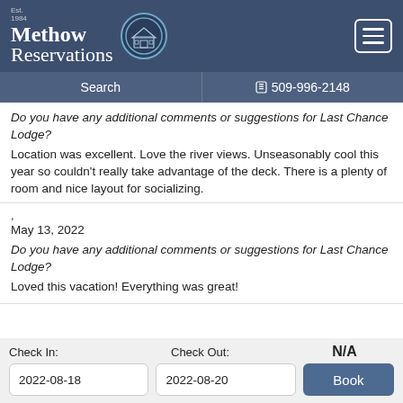Methow Reservations
Search | 509-996-2148
Do you have any additional comments or suggestions for Last Chance Lodge?
Location was excellent. Love the river views. Unseasonably cool this year so couldn't really take advantage of the deck. There is a plenty of room and nice layout for socializing.
'
May 13, 2022
Do you have any additional comments or suggestions for Last Chance Lodge?
Loved this vacation! Everything was great!
Check In: 2022-08-18  Check Out: 2022-08-20  N/A  Book